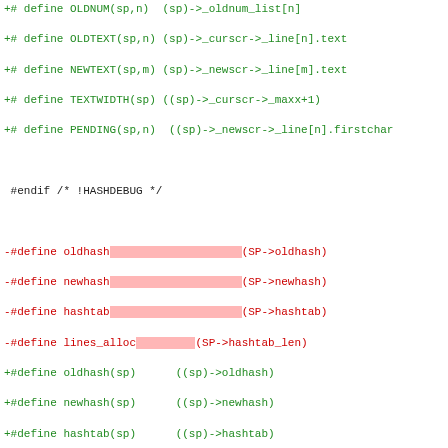[Figure (screenshot): A code diff view showing changes to C preprocessor macros and a hash function signature in what appears to be the ncurses library source. Green lines with +# prefix show additions, red lines with -# prefix show removals. Some lines have colored highlight backgrounds (green or red) to indicate changed tokens. The diff shows macro redefinitions (oldhash, newhash, hashtab, lines_alloc) being changed to take a 'sp' parameter, and a hash() function gaining a SCREEN *sp parameter.]